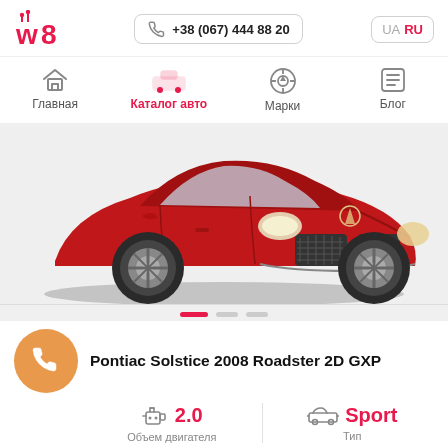w8 | +38 (067) 444 88 20 | UA | RU
Главная
Каталог авто
Марки
Блог
[Figure (photo): Red Pontiac Solstice 2008 Roadster 2D GXP sports car, front three-quarter view]
Pontiac Solstice 2008 Roadster 2D GXP
2.0 | Объем двигателя
Sport | Тип